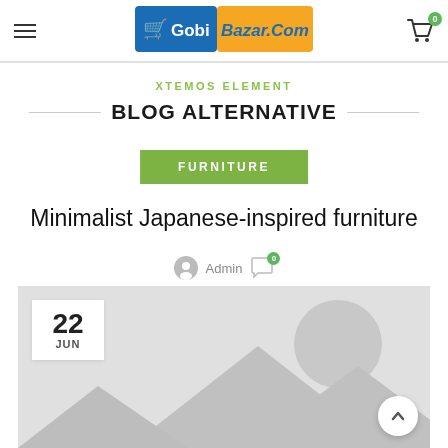[Figure (logo): GobiBazar.Com e-commerce logo with shopping cart icon, blue and orange colors]
XTEMOS ELEMENT
BLOG ALTERNATIVE
FURNITURE
Minimalist Japanese-inspired furniture
Admin  0 comments
[Figure (photo): Placeholder image with mountain silhouettes and circle, showing date badge 22 JUN]